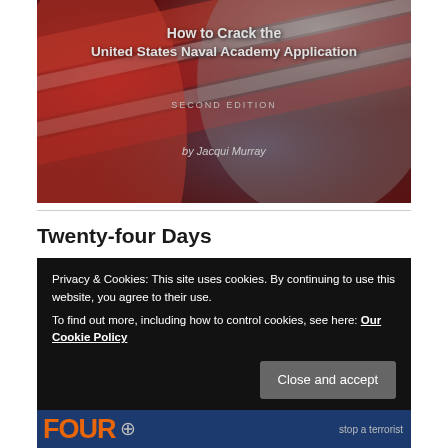[Figure (illustration): Book cover for 'How to Crack the United States Naval Academy Application, Second Edition by Jacqui Murray' shown against an American flag background with red, white, and gray tones.]
Twenty-four Days
Privacy & Cookies: This site uses cookies. By continuing to use this website, you agree to their use.
To find out more, including how to control cookies, see here: Our Cookie Policy
Close and accept
[Figure (screenshot): Bottom strip showing partial book or website imagery with orange letters and crosshair graphic, with text 'stop a terrorist' on the right.]